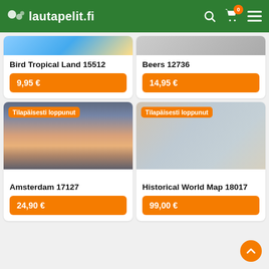lautapelit.fi
Bird Tropical Land 15512
9,95 €
Beers 12736
14,95 €
Tilapäisesti loppunut
Amsterdam 17127
24,90 €
Tilapäisesti loppunut
Historical World Map 18017
99,00 €